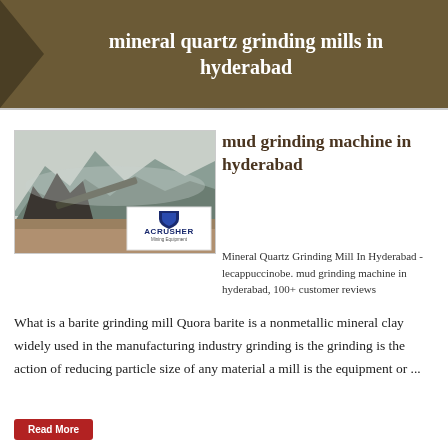mineral quartz grinding mills in hyderabad
[Figure (photo): Mining/quarry site with heavy equipment and conveyor belts, mountains in background. ACRUSHER Mining Equipment logo overlay.]
mud grinding machine in hyderabad
Mineral Quartz Grinding Mill In Hyderabad - lecappuccinobe. mud grinding machine in hyderabad, 100+ customer reviews What is a barite grinding mill Quora barite is a nonmetallic mineral clay widely used in the manufacturing industry grinding is the grinding is the action of reducing particle size of any material a mill is the equipment or ...